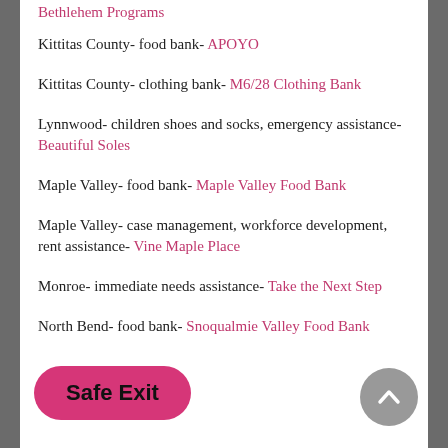Bethlehem Programs
Kittitas County- food bank- APOYO
Kittitas County- clothing bank- M6/28 Clothing Bank
Lynnwood- children shoes and socks, emergency assistance- Beautiful Soles
Maple Valley- food bank- Maple Valley Food Bank
Maple Valley- case management, workforce development, rent assistance- Vine Maple Place
Monroe- immediate needs assistance- Take the Next Step
North Bend- food bank- Snoqualmie Valley Food Bank